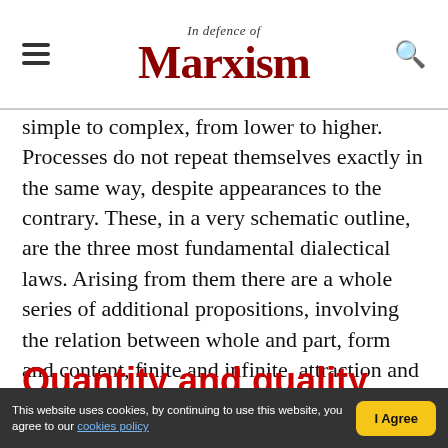In defence of Marxism
simple to complex, from lower to higher. Processes do not repeat themselves exactly in the same way, despite appearances to the contrary. These, in a very schematic outline, are the three most fundamental dialectical laws. Arising from them there are a whole series of additional propositions, involving the relation between whole and part, form and content, finite and infinite, attraction and repulsion and so on. These we shall attempt to deal with. Let us begin with quantity and quality.
Quantity and quality
This website uses cookies, by continuing to use this website, you agree to our cookies policy  I Agree